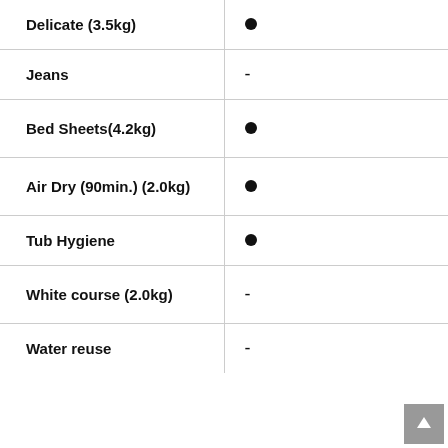| Feature | Value |
| --- | --- |
| Delicate (3.5kg) | ● |
| Jeans | - |
| Bed Sheets(4.2kg) | ● |
| Air Dry (90min.) (2.0kg) | ● |
| Tub Hygiene | ● |
| White course (2.0kg) | - |
| Water reuse | - |